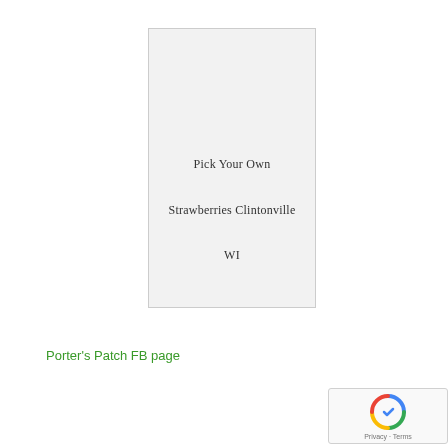[Figure (other): A light gray rectangular card with the text 'Pick Your Own Strawberries Clintonville WI' centered near the bottom]
Porter's Patch FB page
[Figure (other): Google reCAPTCHA widget showing the reCAPTCHA logo with Privacy and Terms text]